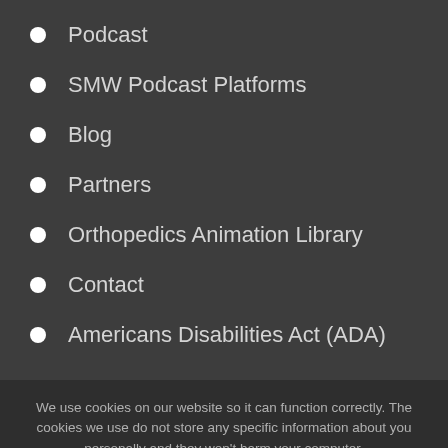Podcast
SMW Podcast Platforms
Blog
Partners
Orthopedics Animation Library
Contact
Americans Disabilities Act (ADA)
We use cookies on our website so it can function correctly. The cookies we use do not store any specific information about you personally and they won't harm your computer. See our privacy policy for more information.
Accept